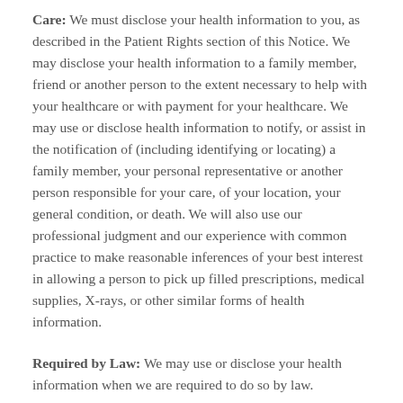Care: We must disclose your health information to you, as described in the Patient Rights section of this Notice. We may disclose your health information to a family member, friend or another person to the extent necessary to help with your healthcare or with payment for your healthcare. We may use or disclose health information to notify, or assist in the notification of (including identifying or locating) a family member, your personal representative or another person responsible for your care, of your location, your general condition, or death. We will also use our professional judgment and our experience with common practice to make reasonable inferences of your best interest in allowing a person to pick up filled prescriptions, medical supplies, X-rays, or other similar forms of health information.
Required by Law: We may use or disclose your health information when we are required to do so by law.